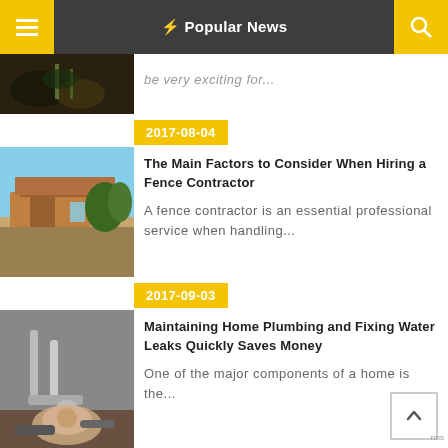⚡ Popular News
be very exciting for...
2017-08-04
The Main Factors to Consider When Hiring a Fence Contractor
A fence contractor is an essential professional service when handling...
2017-09-03
Maintaining Home Plumbing and Fixing Water Leaks Quickly Saves Money
One of the major components of a home is the...